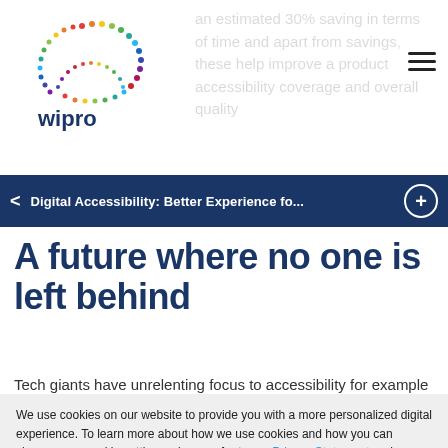[Figure (logo): Wipro logo with colorful dot pattern circle and 'wipro' text]
an estimated 30% saving in terms of time and apart from savings, these help improve a product accessibility coverage and overall quality
Digital Accessibility: Better Experience fo...
A future where no one is left behind
Tech giants have unrelenting focus to accessibility for example many Microsoft products are
We use cookies on our website to provide you with a more personalized digital experience. To learn more about how we use cookies and how you can change your cookie settings, please refer to our Privacy Statement and Cookie Classification
Cookie Settings  ✓ Accept